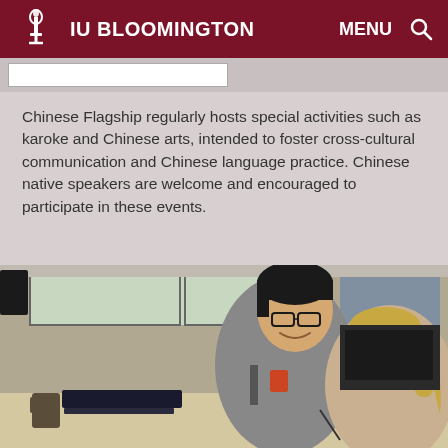IU BLOOMINGTON   MENU
Chinese Flagship regularly hosts special activities such as karoke and Chinese arts, intended to foster cross-cultural communication and Chinese language practice. Chinese native speakers are welcome and encouraged to participate in these events.
[Figure (photo): Two students, one Asian male with glasses smiling and one female with blonde hair and glasses, sitting at a table together in a classroom, appearing to collaborate on work. Windows are visible in the background along with AV equipment.]